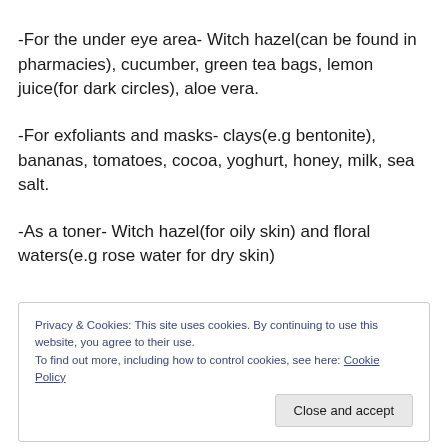-For the under eye area- Witch hazel(can be found in pharmacies), cucumber, green tea bags, lemon juice(for dark circles), aloe vera.
-For exfoliants and masks- clays(e.g bentonite), bananas, tomatoes, cocoa, yoghurt, honey, milk, sea salt.
-As a toner- Witch hazel(for oily skin) and floral waters(e.g rose water for dry skin)
Privacy & Cookies: This site uses cookies. By continuing to use this website, you agree to their use. To find out more, including how to control cookies, see here: Cookie Policy